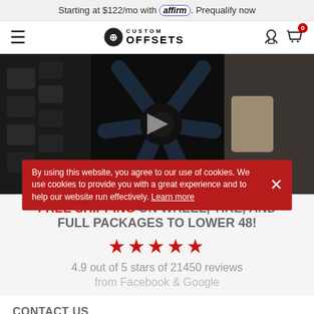Starting at $122/mo with affirm. Prequalify now
[Figure (screenshot): Custom Offsets website navigation bar with hamburger menu, logo, phone and cart icons]
[Figure (photo): Close-up photo of a large black custom wheel being installed on a vehicle, dark background]
FREE SHIPPING ON WHEEL, TIRE, AND FULL PACKAGES TO LOWER 48!
★★★★★
4.9 out of 5 stars of 21450 reviews from Facebook & Google
By using this website, you agree to our use of cookies. We use cookies to provide you with a great experience and to help our website run effectively. Learn more
CONTACT US
OUR WEBSITE
OUR TOOLS